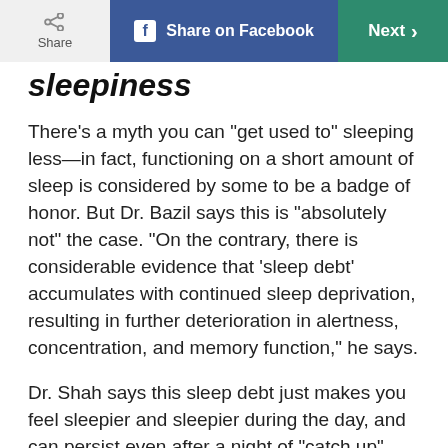Share on Facebook | Next
sleepiness
There’s a myth you can “get used to” sleeping less—in fact, functioning on a short amount of sleep is considered by some to be a badge of honor. But Dr. Bazil says this is “absolutely not” the case. “On the contrary, there is considerable evidence that ‘sleep debt’ accumulates with continued sleep deprivation, resulting in further deterioration in alertness, concentration, and memory function,” he says.
Dr. Shah says this sleep debt just makes you feel sleepier and sleepier during the day, and can persist even after a night of “catch up” sleep. And you know that feeling of confusion when you